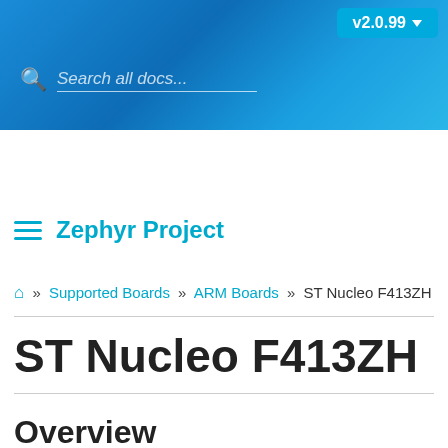[Figure (screenshot): Top navigation bar with search box reading 'Search all docs...' and a version button labeled 'v2.0.99' with dropdown arrow, on a blue gradient background]
Documentation sets
Zephyr Project
🏠 » Supported Boards » ARM Boards » ST Nucleo F413ZH
ST Nucleo F413ZH
Overview
The Nucleo F413ZH board features an ARM